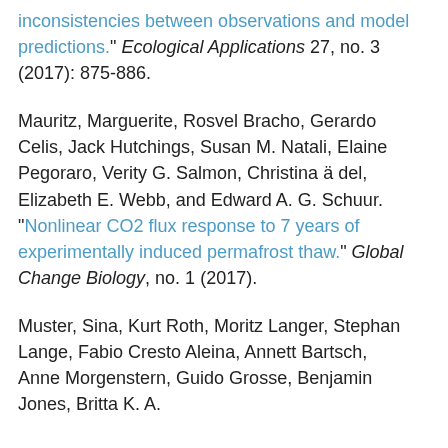inconsistencies between observations and model predictions." Ecological Applications 27, no. 3 (2017): 875-886.
Mauritz, Marguerite, Rosvel Bracho, Gerardo Celis, Jack Hutchings, Susan M. Natali, Elaine Pegoraro, Verity G. Salmon, Christina ä del, Elizabeth E. Webb, and Edward A. G. Schuur. "Nonlinear CO2 flux response to 7 years of experimentally induced permafrost thaw." Global Change Biology, no. 1 (2017).
Muster, Sina, Kurt Roth, Moritz Langer, Stephan Lange, Fabio Cresto Aleina, Annett Bartsch, Anne Morgenstern, Guido Grosse, Benjamin Jones, Britta K. A.